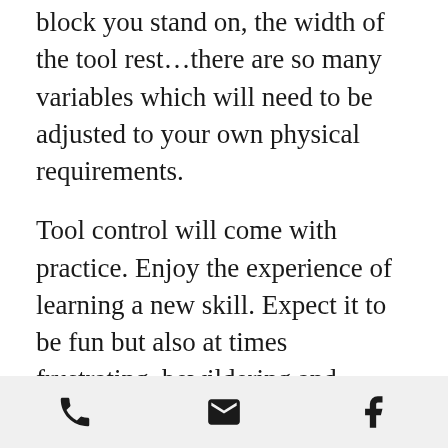block you stand on, the width of the tool rest...there are so many variables which will need to be adjusted to your own physical requirements.
Tool control will come with practice. Enjoy the experience of learning a new skill. Expect it to be fun but also at times frustrating, bewildering and seemingly impossible at first.
With persistence and patience you will soon feel more at home behind the lathe. I hope you will enjoy the journey.
[phone icon] [email icon] [facebook icon]